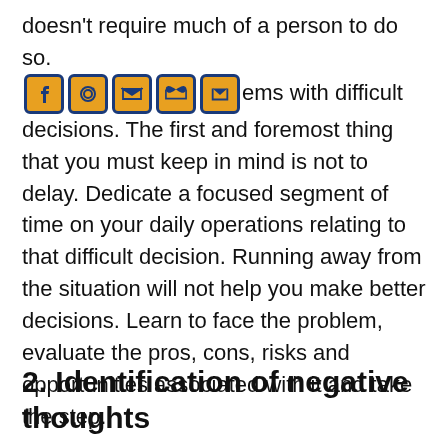doesn't require much of a person to do so. [social icons] problems with difficult decisions. The first and foremost thing that you must keep in mind is not to delay. Dedicate a focused segment of time on your daily operations relating to that difficult decision. Running away from the situation will not help you make better decisions. Learn to face the problem, evaluate the pros, cons, risks and opportunities associated with it and take the step.
2. Identification of negative thoughts